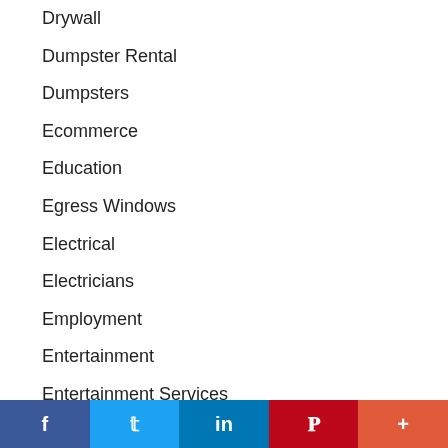Drywall
Dumpster Rental
Dumpsters
Ecommerce
Education
Egress Windows
Electrical
Electricians
Employment
Entertainment
Entertainment Services
Environment
Errand Services
Estate Services
f  Twitter  in  P  +